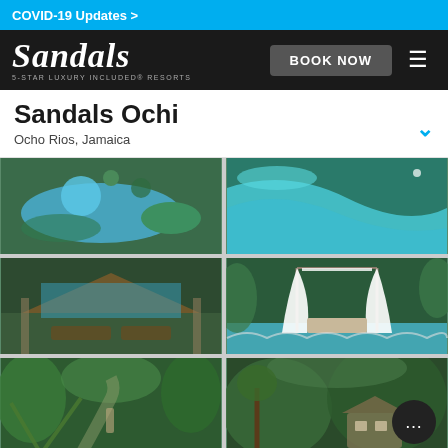COVID-19 Updates >
[Figure (logo): Sandals logo with tagline '5-STAR LUXURY INCLUDED RESORTS' on dark background, with BOOK NOW button and hamburger menu]
Sandals Ochi
Ocho Rios, Jamaica
[Figure (photo): Aerial view of resort pool with hot tub surrounded by tropical trees]
[Figure (photo): Aerial view of large winding turquoise resort pool]
[Figure (photo): Open-air thatched pavilion with seating overlooking the ocean]
[Figure (photo): White canopy bed beside a blue pool surrounded by lush tropical foliage]
[Figure (photo): Lush tropical garden pathway with palm trees and statue]
[Figure (photo): Tropical treehouse-style villa surrounded by dense green foliage]